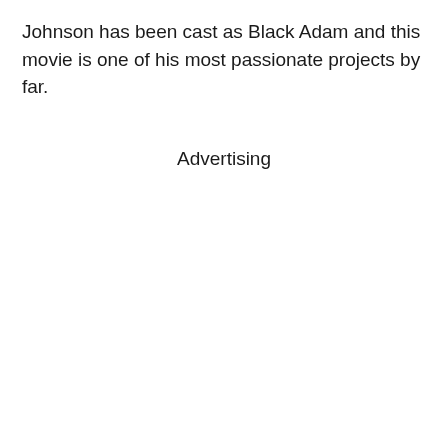Johnson has been cast as Black Adam and this movie is one of his most passionate projects by far.
Advertising